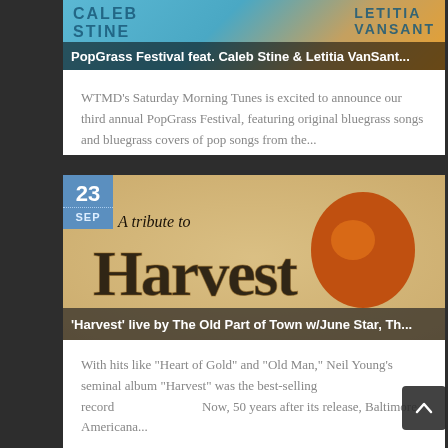[Figure (photo): PopGrass Festival promotional image with CALEB STINE and LETITIA VANSANT text over teal/orange background with overlay text]
PopGrass Festival feat. Caleb Stine & Letitia VanSant...
WTMD's Saturday Morning Tunes is excited to announce our third annual PopGrass Festival, featuring original bluegrass songs and bluegrass covers of pop songs from the...
[Figure (photo): A Tribute to Harvest event image with decorative typography and a pumpkin graphic. Date badge shows 23 SEP.]
'Harvest' live by The Old Part of Town w/June Star, Th...
With hits like "Heart of Gold" and "Old Man," Neil Young's seminal album "Harvest" was the best-selling record... Now, 50 years after its release, Baltimore Americana...